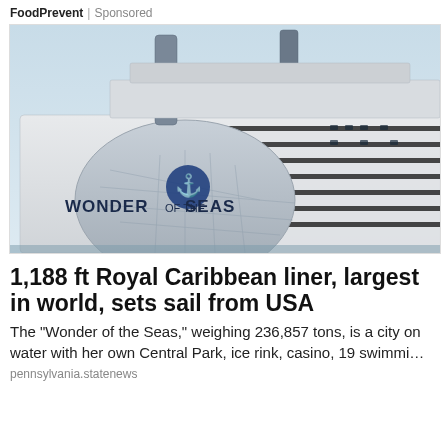FoodPrevent | Sponsored
[Figure (photo): Large cruise ship 'Wonder of the Seas' photographed from the dock, showing the massive white hull with royal Caribbean logo dome and striped upper decks against a pale blue sky.]
1,188 ft Royal Caribbean liner, largest in world, sets sail from USA
The "Wonder of the Seas," weighing 236,857 tons, is a city on water with her own Central Park, ice rink, casino, 19 swimmi…
pennsylvania.statenews